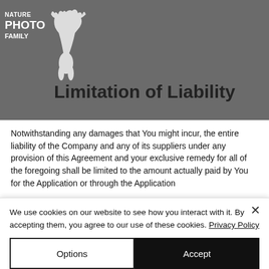NATURE PHOTO FAMILY
greatest extent enforceable under applicable law. To the extent any warranty exists under law that cannot be disclaimed, the Company, not the Application Store, shall be solely responsible for such warranty.
Limitation of Liability
Notwithstanding any damages that You might incur, the entire liability of the Company and any of its suppliers under any provision of this Agreement and your exclusive remedy for all of the foregoing shall be limited to the amount actually paid by You for the Application or through the Application
We use cookies on our website to see how you interact with it. By accepting them, you agree to our use of these cookies. Privacy Policy
Options
Accept